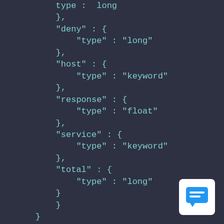type :  long
},
"deny" : {
    "type" : "long"
},
"host" : {
    "type" : "keyword"
},
"response" : {
    "type" : "float"
},
"service" : {
    "type" : "keyword"
},
"total" : {
    "type" : "long"
}
}
}
[Figure (illustration): Blue chat/message icon on white rounded rectangle background in bottom-right corner]